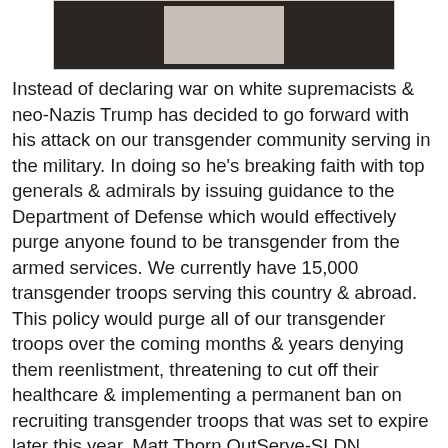[Figure (photo): A dark photograph showing what appears to be a military or outdoor scene with a lighter rectangular element in the center.]
Instead of declaring war on white supremacists & neo-Nazis Trump has decided to go forward with his attack on our transgender community serving in the military. In doing so he's breaking faith with top generals & admirals by issuing guidance to the Department of Defense which would effectively purge anyone found to be transgender from the armed services. We currently have 15,000 transgender troops serving this country & abroad. This policy would purge all of our transgender troops over the coming months & years denying them reenlistment, threatening to cut off their healthcare & implementing a permanent ban on recruiting transgender troops that was set to expire later this year. Matt Thorn OutServe-SLDN Executive Director stated, "The President's order to remove transgender service members from the United States armed forces & deny them healthcare is nothing less than a purge. He is implementing this purge based on bigotry, motivated by agents of an ideology that has no concern for the national defense, & in blatant disregard of the experience of career officers who spent more than a year developing & implementing the current